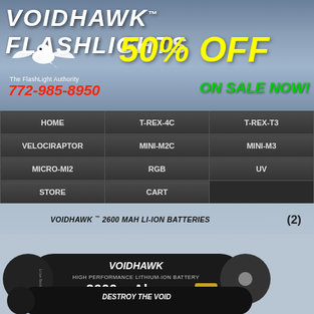VOIDHAWK™ FLASHLIGHTS
[Figure (logo): Eagle/hawk logo facing left, white silhouette on blue-grey background]
The FlashLight Authority
50% OFF
772-985-8950
ON SALE NOW!
| HOME | T-REX-4C | T-REX-T3 |
| VELOCIRAPTOR | MINI-M2C | MINI-M3 |
| MICRO-MI2 | RGB | UV |
| STORE | CART |  |
VOIDHAWK™ 2600 MAH LI-ION BATTERIES
(2)
[Figure (photo): Two black cylindrical Voidhawk 18650 Li-ion batteries (2600 mAh, 3.7V) labeled HIGH PERFORMANCE LITHIUM-ION BATTERY, with text 'Integrated overcharge / discharge and short circuit protection' and 'DESTROY THE VOID' partially visible at bottom]